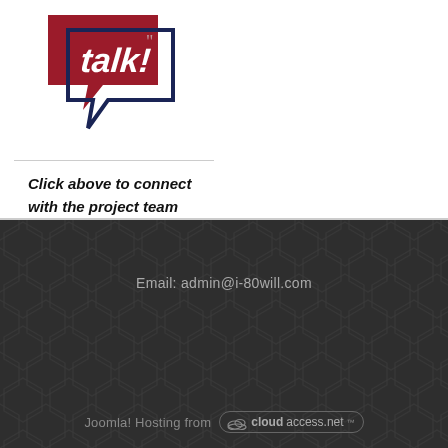[Figure (logo): Red speech bubble logo with italic 'Talk!' text and dark navy blue speech bubble outline below]
Click above to connect with the project team
Email: admin@i-80will.com
[Figure (logo): cloudaccess.net logo in rounded pill shape with 'cloud' in bold and 'access.net' text]
Joomla! Hosting from cloudaccess.net